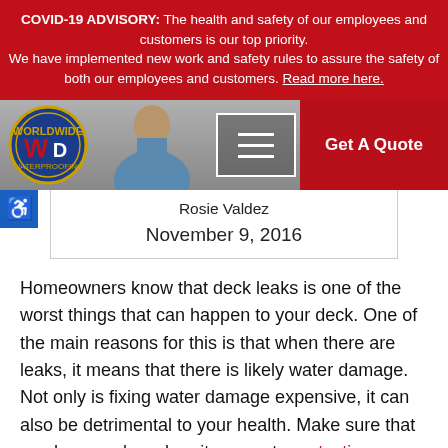COVID-19 ADVISORY: The health and safety of our employees and customers is our top priority. We have implemented new work and safety rules to assure the safety of both our employees and customers. Read more here.
[Figure (screenshot): Website navigation bar with DW logo on left, person silhouette in center, hamburger menu button, and red 'Get A Quote' button on right]
Rosie Valdez
November 9, 2016
Homeowners know that deck leaks is one of the worst things that can happen to your deck. One of the main reasons for this is that when there are leaks, it means that there is likely water damage. Not only is fixing water damage expensive, it can also be detrimental to your health. Make sure that you have a plan when it comes to protection against a leaky deck.
If your deck has started to leak, it is likely that there